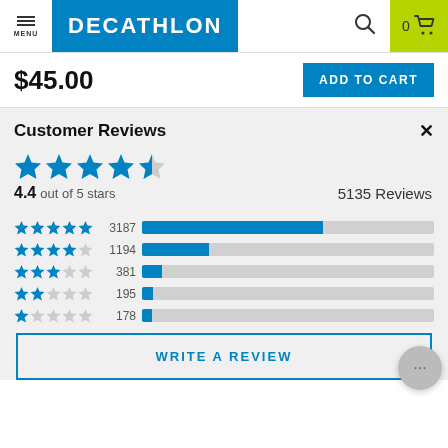MENU | DECATHLON | Search | 0 Cart
$45.00
ADD TO CART
Customer Reviews
[Figure (bar-chart): Customer Reviews Rating Distribution]
4.4 out of 5 stars   5135 Reviews
WRITE A REVIEW